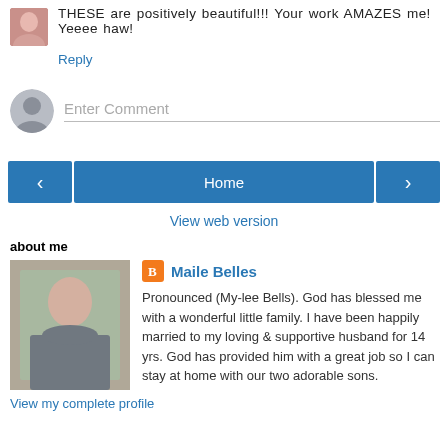THESE are positively beautiful!!! Your work AMAZES me! Yeeee haw!
Reply
Enter Comment
Home
View web version
about me
[Figure (photo): Profile photo of Maile Belles - woman smiling outdoors]
Maile Belles
Pronounced (My-lee Bells). God has blessed me with a wonderful little family. I have been happily married to my loving & supportive husband for 14 yrs. God has provided him with a great job so I can stay at home with our two adorable sons.
View my complete profile